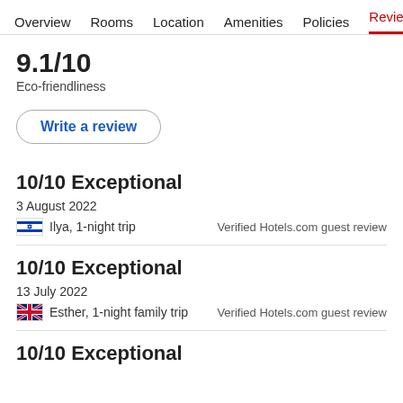Overview  Rooms  Location  Amenities  Policies  Reviews
9.1/10
Eco-friendliness
Write a review
10/10 Exceptional
3 August 2022
Ilya, 1-night trip
Verified Hotels.com guest review
10/10 Exceptional
13 July 2022
Esther, 1-night family trip
Verified Hotels.com guest review
10/10 Exceptional